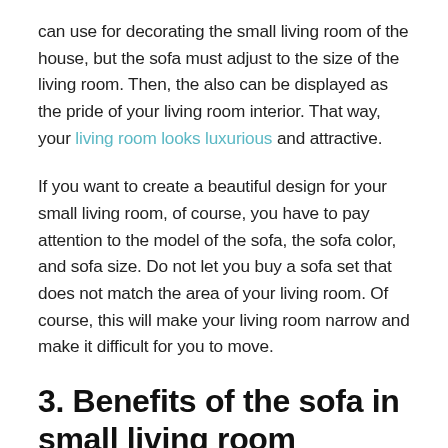can use for decorating the small living room of the house, but the sofa must adjust to the size of the living room. Then, the also can be displayed as the pride of your living room interior. That way, your living room looks luxurious and attractive.
If you want to create a beautiful design for your small living room, of course, you have to pay attention to the model of the sofa, the sofa color, and sofa size. Do not let you buy a sofa set that does not match the area of your living room. Of course, this will make your living room narrow and make it difficult for you to move.
3. Benefits of the sofa in small living room